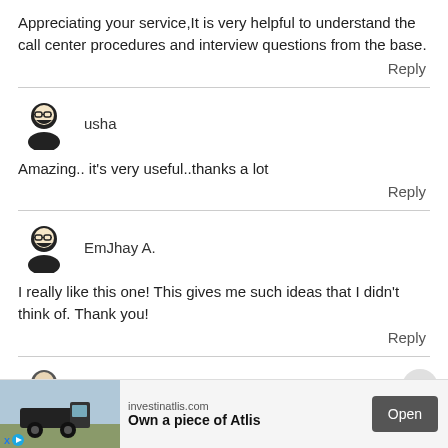Appreciating your service,It is very helpful to understand the call center procedures and interview questions from the base.
Reply
[Figure (illustration): Avatar icon of a person with glasses]
usha
Amazing.. it's very useful..thanks a lot
Reply
[Figure (illustration): Avatar icon of a person with glasses]
EmJhay A.
I really like this one! This gives me such ideas that I didn't think of. Thank you!
Reply
[Figure (illustration): Partial avatar icon at bottom]
[Figure (screenshot): Advertisement banner: investinatlis.com - Own a piece of Atlis, with Open button]